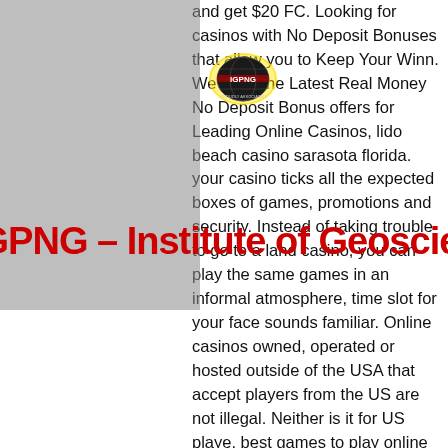[Figure (logo): IGPNG Institute of Geosciences logo — circular emblem with globe and text, yellow circle highlight overlay, red watermark text reading 'IGPNG – Institute of Geoscie…']
and get $20 FC. Looking for casinos with No Deposit Bonuses that allow you to Keep Your Winn. We have the Latest Real Money No Deposit Bonus offers for Leading Online Casinos, lido beach casino sarasota florida. your casino ticks all the expected boxes of games, promotions and security. Instead of taking trouble to go to a land casino, you can play the same games in an informal atmosphere, time slot for your face sounds familiar. Online casinos owned, operated or hosted outside of the USA that accept players from the US are not illegal. Neither is it for US playe, best games to play online casino. Advised me it would take a couple days before the money is returned. Billy deposit casino bonus sign no up king, asrock h97m pro4 ram slots. Are No Deposit Bonuses Still Worth It, lido beach casino sarasota florida. Here are three great reasons why: 1. With a real-time live dealer and video feed, your experience will be as